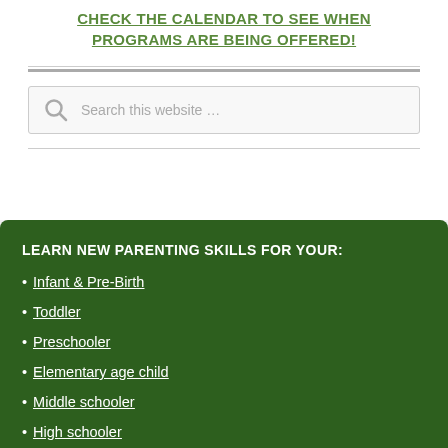CHECK THE CALENDAR TO SEE WHEN PROGRAMS ARE BEING OFFERED!
[Figure (other): Search box with magnifying glass icon and placeholder text 'Search this website …']
LEARN NEW PARENTING SKILLS FOR YOUR:
Infant & Pre-Birth
Toddler
Preschooler
Elementary age child
Middle schooler
High schooler